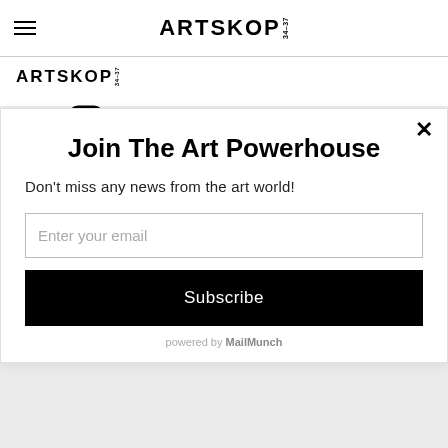ARTSKOP 34-37
[Figure (logo): ARTSKOP 34-37 logo, secondary smaller version]
[Figure (infographic): Social media icons: Facebook, Instagram, YouTube]
Subscribe to our newsletter
Join The Art Powerhouse
Don't miss any news from the art world!
Enter your email
Subscribe
powered by MailMunch